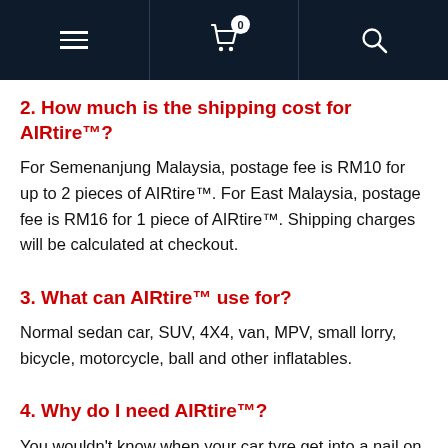Navigation bar with hamburger menu, shopping cart (0 items), and search icon
2. How much is the shipping cost for AIRtire™?
For Semenanjung Malaysia, postage fee is RM10 for up to 2 pieces of AIRtire™. For East Malaysia, postage fee is RM16 for 1 piece of AIRtire™. Shipping charges will be calculated at checkout.
3. What can AIRtire™ use for?
Normal sedan car, SUV, 4X4, van, MPV, small lorry, bicycle, motorcycle, ball and other inflatables.
4. Why do I need AIRtire™?
You wouldn't know when your car tyre get into a nail on